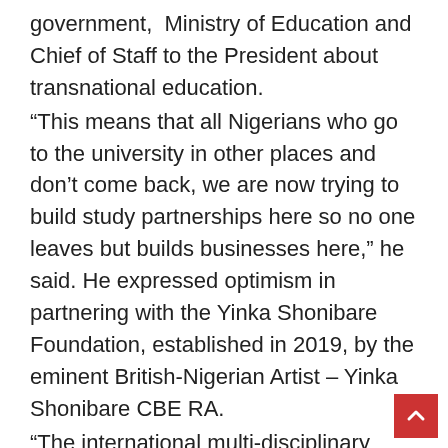government,  Ministry of Education and Chief of Staff to the President about transnational education.
“This means that all Nigerians who go to the university in other places and don’t come back, we are now trying to build study partnerships here so no one leaves but builds businesses here,” he said. He expressed optimism in partnering with the Yinka Shonibare Foundation, established in 2019, by the eminent British-Nigerian Artist – Yinka Shonibare CBE RA.
“The international multi-disciplinary practice explores colonialism and post-colonialism within the context of globalisation, ideal to achieve the aim. “The Yinka Shonibare Foundation is a UK registe…